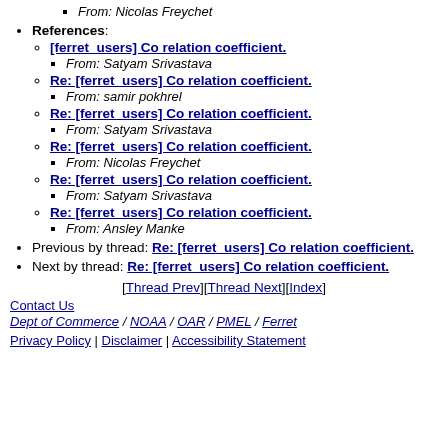From: Nicolas Freychet
References:
[ferret_users] Co relation coefficient.
From: Satyam Srivastava
Re: [ferret_users] Co relation coefficient.
From: samir pokhrel
Re: [ferret_users] Co relation coefficient.
From: Satyam Srivastava
Re: [ferret_users] Co relation coefficient.
From: Nicolas Freychet
Re: [ferret_users] Co relation coefficient.
From: Satyam Srivastava
Re: [ferret_users] Co relation coefficient.
From: Ansley Manke
Previous by thread: Re: [ferret_users] Co relation coefficient.
Next by thread: Re: [ferret_users] Co relation coefficient.
[Thread Prev][Thread Next][Index]
Contact Us
Dept of Commerce / NOAA / OAR / PMEL / Ferret
Privacy Policy | Disclaimer | Accessibility Statement